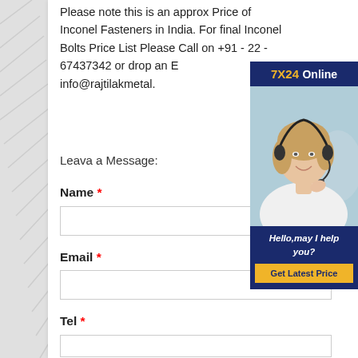Please note this is an approx Price of Inconel Fasteners in India. For final Inconel Bolts Price List Please Call on +91 - 22 - 67437342 or drop an Email: info@rajtilakmetal.
[Figure (infographic): Chat widget with '7X24 Online' header in navy/gold, photo of a smiling woman wearing a headset on a light blue background, navy bottom panel with 'Hello,may I help you?' in italic white text, and a yellow 'Get Latest Price' button.]
Leava a Message:
Name *
Email *
Tel *